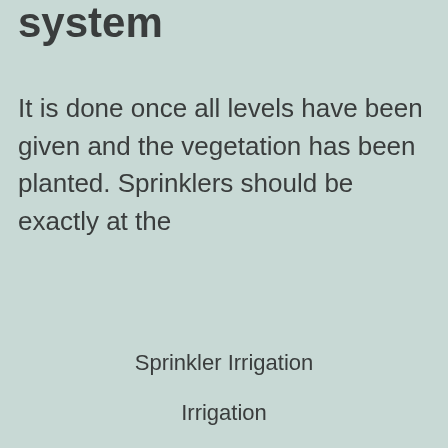system
It is done once all levels have been given and the vegetation has been planted. Sprinklers should be exactly at the
Sprinkler Irrigation
Irrigation